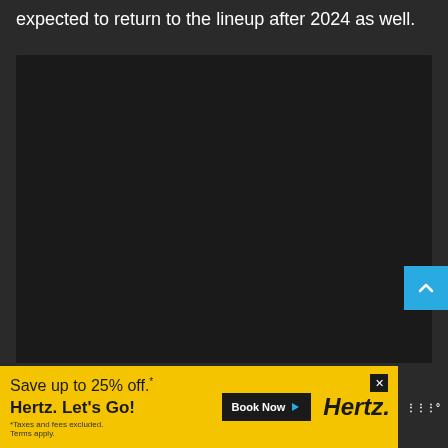expected to return to the lineup after 2024 as well.
[Figure (photo): Dark/black image placeholder area, content not visible]
[Figure (other): Advertisement banner: Hertz car rental. 'Save up to 25% off.* Hertz. Let's Go!' with Book Now button and Hertz logo on yellow background. Terms apply note visible.]